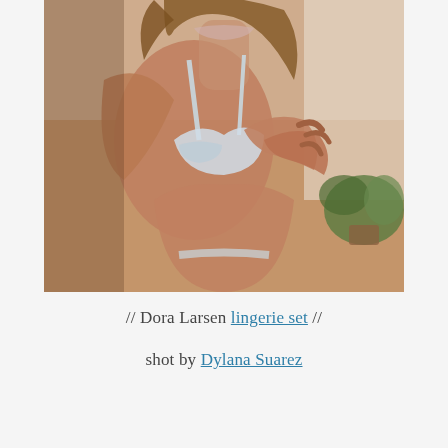[Figure (photo): Close-up photo of a woman wearing a light blue/white lace bralette lingerie set, adjusting the bra with both hands. Soft indoor lighting, blurred green plant visible in background at right.]
// Dora Larsen lingerie set // shot by Dylana Suarez